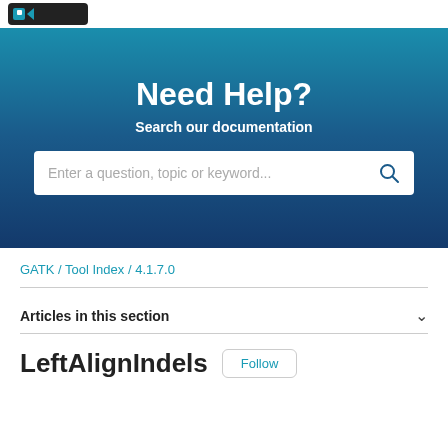[Figure (screenshot): Logo strip at top with dark rounded logo icon on white background]
Need Help?
Search our documentation
Enter a question, topic or keyword...
GATK / Tool Index / 4.1.7.0
Articles in this section
LeftAlignIndels